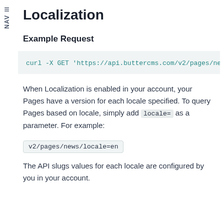NAV ≡
Localization
Example Request
curl -X GET 'https://api.buttercms.com/v2/pages/news/l
When Localization is enabled in your account, your Pages have a version for each locale specified. To query Pages based on locale, simply add locale= as a parameter. For example:
v2/pages/news/locale=en
The API slugs values for each locale are configured by you in your account.